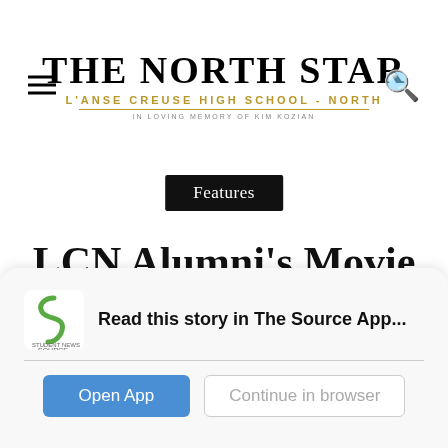THE NORTH STAR | L'ANSE CREUSE HIGH SCHOOL - NORTH | IN LOVING MEMORY OF KIM KOZIAN
Features
LCN Alumni's Movie Podcast
Read this story in The Source App...
Open App
Continue in browser